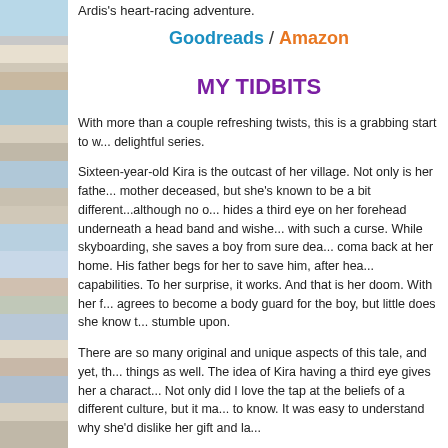Ardis's heart-racing adventure.
Goodreads / Amazon
MY TIDBITS
With more than a couple refreshing twists, this is a grabbing start to w... delightful series.
Sixteen-year-old Kira is the outcast of her village. Not only is her fathe... mother deceased, but she's known to be a bit different...although no o... hides a third eye on her forehead underneath a head band and wishe... with such a curse. While skyboarding, she saves a boy from sure dea... coma back at her home. His father begs for her to save him, after hea... capabilities. To her surprise, it works. And that is her doom. With her f... agrees to become a body guard for the boy, but little does she know t... stumble upon.
There are so many original and unique aspects of this tale, and yet, th... things as well. The idea of Kira having a third eye gives her a charact... Not only did I love the tap at the beliefs of a different culture, but it ma... to know. It was easy to understand why she'd dislike her gift and la...